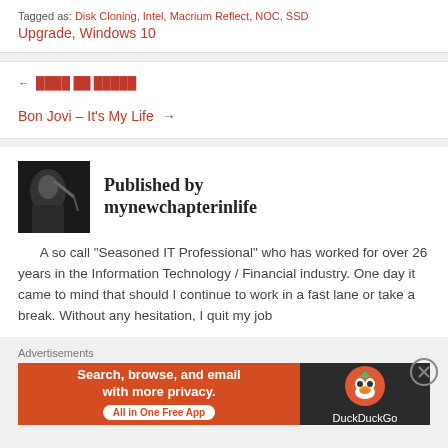Tagged as: Disk Cloning, Intel, Macrium Reflect, NOC, SSD Upgrade, Windows 10
← [prev post title]
Bon Jovi – It's My Life →
Published by mynewchapterinlife
A so call "Seasoned IT Professional" who has worked for over 26 years in the Information Technology / Financial industry. One day it came to mind that should I continue to work in a fast lane or take a break. Without any hesitation, I quit my job
Advertisements
[Figure (screenshot): DuckDuckGo advertisement banner: orange left panel with text 'Search, browse, and email with more privacy. All in One Free App' and dark right panel with DuckDuckGo duck logo and 'DuckDuckGo' text]